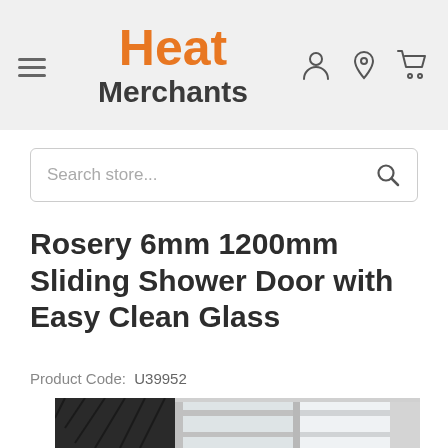Heat Merchants
Rosery 6mm 1200mm Sliding Shower Door with Easy Clean Glass
Product Code:  U39952
[Figure (photo): Photo of a sliding shower door with chrome frame and clear glass panels, showing dark tiled shower interior in background]